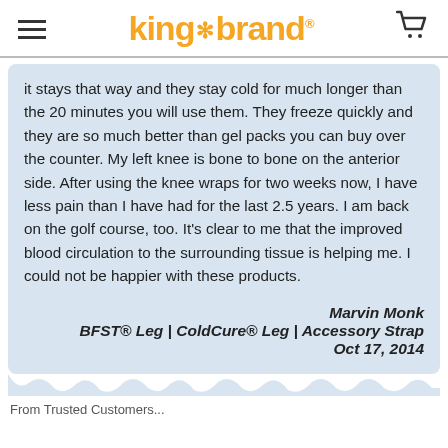king brand
it stays that way and they stay cold for much longer than the 20 minutes you will use them. They freeze quickly and they are so much better than gel packs you can buy over the counter. My left knee is bone to bone on the anterior side. After using the knee wraps for two weeks now, I have less pain than I have had for the last 2.5 years. I am back on the golf course, too. It's clear to me that the improved blood circulation to the surrounding tissue is helping me. I could not be happier with these products.
Marvin Monk
BFST® Leg | ColdCure® Leg | Accessory Strap
Oct 17, 2014